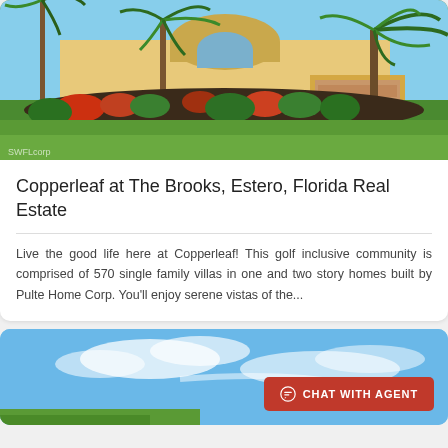[Figure (photo): Exterior view of a Florida home with lush tropical landscaping including palm trees, colorful plants, and a well-manicured green lawn. Watermark 'SWFLcorp' visible at bottom left.]
Copperleaf at The Brooks, Estero, Florida Real Estate
Live the good life here at Copperleaf! This golf inclusive community is comprised of 570 single family villas in one and two story homes built by Pulte Home Corp. You'll enjoy serene vistas of the...
[Figure (photo): Partial view of a Florida property against a blue sky with clouds. A red 'CHAT WITH AGENT' button is visible at the bottom right.]